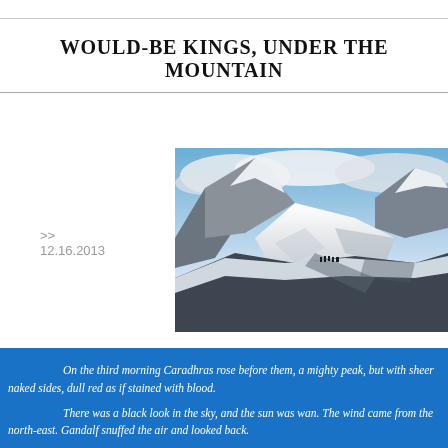WOULD-BE KINGS, UNDER THE MOUNTAIN
>> 12.16.2013
[Figure (photo): Aerial or wide-angle photograph of a snowy mountain range with blue sky and clouds. Small figures of people are visible on a snow ridge. The mountains have steep, dramatic white snow-covered slopes.]
On the third morning Caradhras rose before them, a mighty peak, but with sheer naked sides, dull red as if stained with blood.
There was a black look in the sky, and the sun was wan. The wind came from the north-east. Gandalf snuffed the air and looked back.